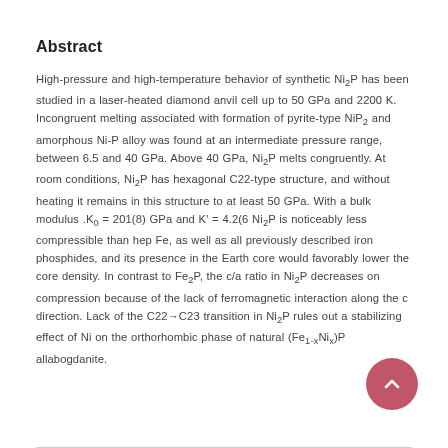Abstract
High-pressure and high-temperature behavior of synthetic Ni₂P has been studied in a laser-heated diamond anvil cell up to 50 GPa and 2200 K. Incongruent melting associated with formation of pyrite-type NiP₂ and amorphous Ni-P alloy was found at an intermediate pressure range, between 6.5 and 40 GPa. Above 40 GPa, Ni₂P melts congruently. At room conditions, Ni₂P has hexagonal C22-type structure, and without heating it remains in this structure to at least 50 GPa. With a bulk modulus .K₀ = 201(8) GPa and K' = 4.2(6 Ni₂P is noticeably less compressible than hep Fe, as well as all previously described iron phosphides, and its presence in the Earth core would favorably lower the core density. In contrast to Fe₂P, the c/a ratio in Ni₂P decreases on compression because of the lack of ferromagnetic interaction along the c direction. Lack of the C22→C23 transition in Ni₂P rules out a stabilizing effect of Ni on the orthorhombic phase of natural (Fe₁₋ₓNiₓ)P allabogdanite.